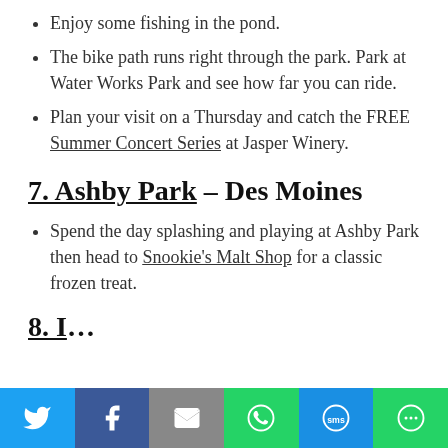Enjoy some fishing in the pond.
The bike path runs right through the park. Park at Water Works Park and see how far you can ride.
Plan your visit on a Thursday and catch the FREE Summer Concert Series at Jasper Winery.
7. Ashby Park – Des Moines
Spend the day splashing and playing at Ashby Park then head to Snookie's Malt Shop for a classic frozen treat.
8. [partial, cut off]
[Figure (other): Social sharing bar with Twitter, Facebook, Email, WhatsApp, SMS, and More buttons]